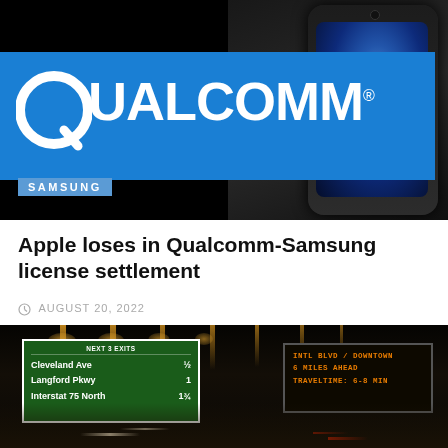[Figure (photo): Qualcomm logo on blue banner background with Samsung tag, alongside an iPhone with glowing blue Apple logo on black background]
Apple loses in Qualcomm-Samsung license settlement
AUGUST 20, 2022
[Figure (photo): Night highway scene with green directional signs showing Cleveland Ave 1/2, Langford Pkwy 1, Interstate 75 North 1 3/4, and orange electronic sign showing INTL BLVD / DOWNTOWN 6 MILES AHEAD TRAVELTIME: 6-8 MIN, with street lights and traffic]